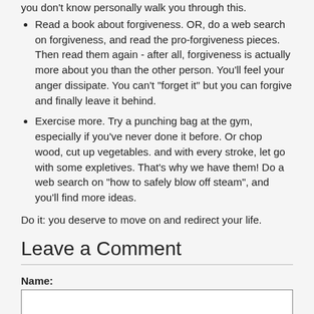you don't know personally walk you through this.
Read a book about forgiveness. OR, do a web search on forgiveness, and read the pro-forgiveness pieces. Then read them again - after all, forgiveness is actually more about you than the other person. You'll feel your anger dissipate. You can't "forget it" but you can forgive and finally leave it behind.
Exercise more. Try a punching bag at the gym, especially if you've never done it before. Or chop wood, cut up vegetables. and with every stroke, let go with some expletives. That's why we have them! Do a web search on "how to safely blow off steam", and you'll find more ideas.
Do it: you deserve to move on and redirect your life.
Leave a Comment
Name:
Comment: